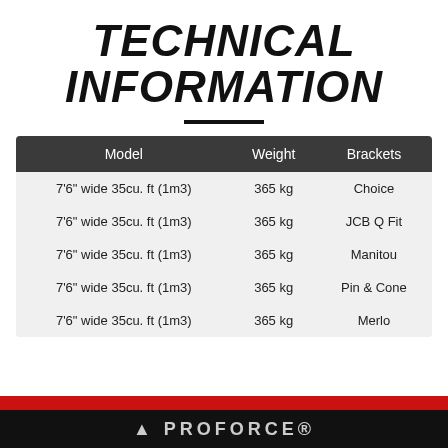TECHNICAL INFORMATION
| Model | Weight | Brackets |
| --- | --- | --- |
| 7'6" wide 35cu. ft (1m3) | 365 kg | Choice |
| 7'6" wide 35cu. ft (1m3) | 365 kg | JCB Q Fit |
| 7'6" wide 35cu. ft (1m3) | 365 kg | Manitou |
| 7'6" wide 35cu. ft (1m3) | 365 kg | Pin & Cone |
| 7'6" wide 35cu. ft (1m3) | 365 kg | Merlo |
PROFORCE